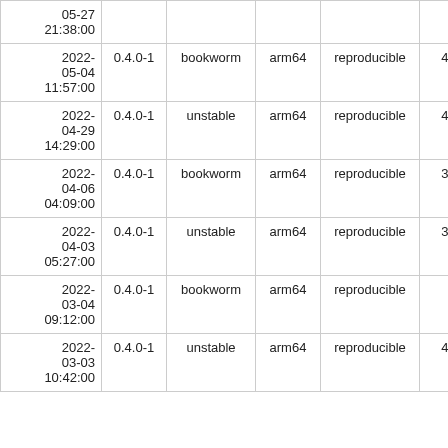| Date | Version | Suite | Arch | Status | Duration |
| --- | --- | --- | --- | --- | --- |
| 2022-05-27 21:38:00 |  |  |  |  |  |
| 2022-05-04 11:57:00 | 0.4.0-1 | bookworm | arm64 | reproducible | 4m 15s |
| 2022-04-29 14:29:00 | 0.4.0-1 | unstable | arm64 | reproducible | 4m 20s |
| 2022-04-06 04:09:00 | 0.4.0-1 | bookworm | arm64 | reproducible | 3m 30s |
| 2022-04-03 05:27:00 | 0.4.0-1 | unstable | arm64 | reproducible | 3m 45s |
| 2022-03-04 09:12:00 | 0.4.0-1 | bookworm | arm64 | reproducible | 4m 2s |
| 2022-03-03 10:42:00 | 0.4.0-1 | unstable | arm64 | reproducible | 4m 35s |